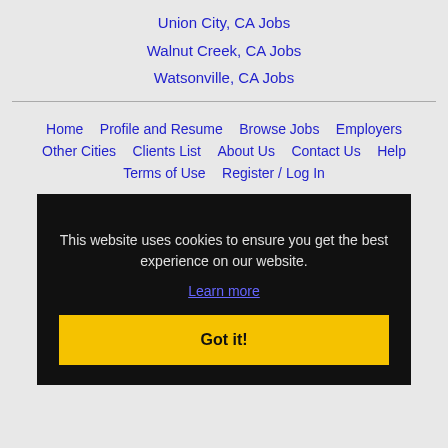Union City, CA Jobs
Walnut Creek, CA Jobs
Watsonville, CA Jobs
Home | Profile and Resume | Browse Jobs | Employers | Other Cities | Clients List | About Us | Contact Us | Help | Terms of Use | Register / Log In
This website uses cookies to ensure you get the best experience on our website.
Learn more
Got it!